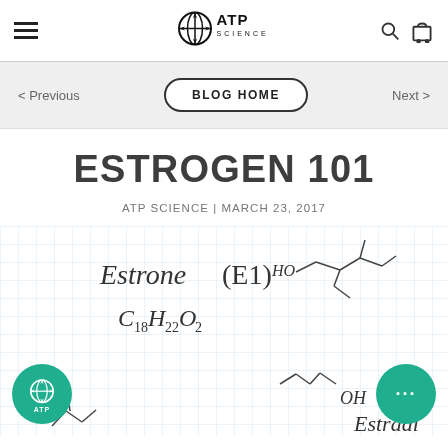ATP Science navigation header with hamburger menu, ATP Science logo, search and cart icons
< Previous    BLOG HOME    Next >
ESTROGEN 101
ATP SCIENCE | MARCH 23, 2017
[Figure (illustration): Hand-drawn chemical formulas on graph paper showing Estrone (E1), C18H22O2 with molecular structure, and partial view of Estradiol with OH group. Green ATP Science logo bubble bottom left and green chat bubble bottom right.]